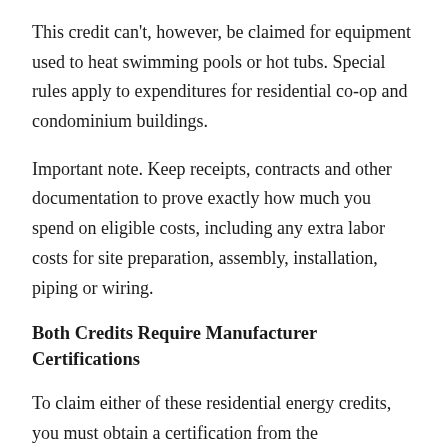This credit can't, however, be claimed for equipment used to heat swimming pools or hot tubs. Special rules apply to expenditures for residential co-op and condominium buildings.
Important note. Keep receipts, contracts and other documentation to prove exactly how much you spend on eligible costs, including any extra labor costs for site preparation, assembly, installation, piping or wiring.
Both Credits Require Manufacturer Certifications
To claim either of these residential energy credits, you must obtain a certification from the manufacturer that the product qualifies. The certification may be on the product packaging or the manufacturer's website. Keep this certification with your tax records. You don't need to attach it to your return, but the return